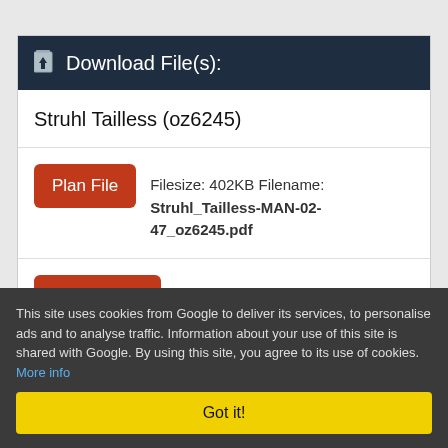Download File(s):
Struhl Tailless (oz6245)
Plan File  Filesize: 402KB Filename: Struhl_Tailless-MAN-02-47_oz6245.pdf
Supplement  Filesize: 931KB Filename: Struhl_Tailless-MAN-02-47_oz6245_article.pdf
This site uses cookies from Google to deliver its services, to personalise ads and to analyse traffic. Information about your use of this site is shared with Google. By using this site, you agree to its use of cookies. More info
Got it!